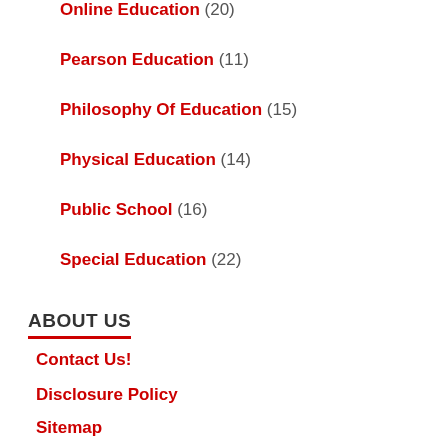Online Education (20)
Pearson Education (11)
Philosophy Of Education (15)
Physical Education (14)
Public School (16)
Special Education (22)
ABOUT US
Contact Us!
Disclosure Policy
Sitemap